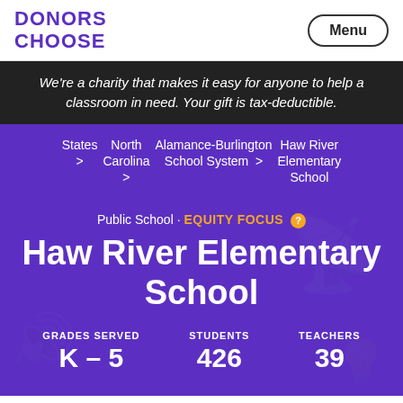DONORS CHOOSE
We're a charity that makes it easy for anyone to help a classroom in need. Your gift is tax-deductible.
States > North Carolina > Alamance-Burlington School System > Haw River Elementary School
Public School · EQUITY FOCUS
Haw River Elementary School
GRADES SERVED K – 5  STUDENTS 426  TEACHERS 39